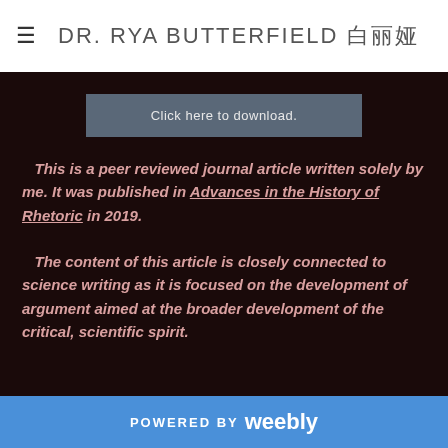DR. RYA BUTTERFIELD 白丽娅
Click here to download.
This is a peer reviewed journal article written solely by me. It was published in Advances in the History of Rhetoric in 2019. The content of this article is closely connected to science writing as it is focused on the development of argument aimed at the broader development of the critical, scientific spirit.
POWERED BY weebly